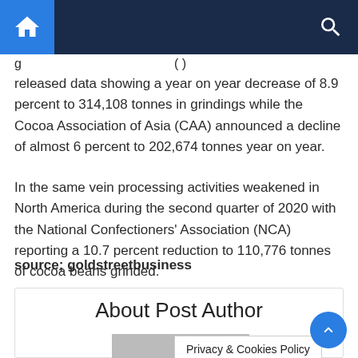[navigation bar with home and search icons]
released data showing a year on year decrease of 8.9 percent to 314,108 tonnes in grindings while the Cocoa Association of Asia (CAA) announced a decline of almost 6 percent to 202,674 tonnes year on year.
In the same vein processing activities weakened in North America during the second quarter of 2020 with the National Confectioners' Association (NCA) reporting a 10.7 percent reduction to 110,776 tonnes of cocoa beans grinded.
source; goldstreetbusiness
About Post Author